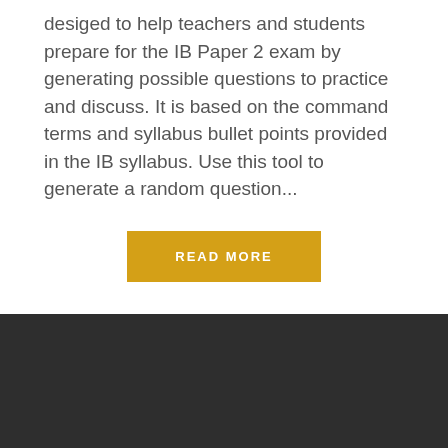desiged to help teachers and students prepare for the IB Paper 2 exam by generating possible questions to practice and discuss. It is based on the command terms and syllabus bullet points provided in the IB syllabus. Use this tool to generate a random question...
READ MORE